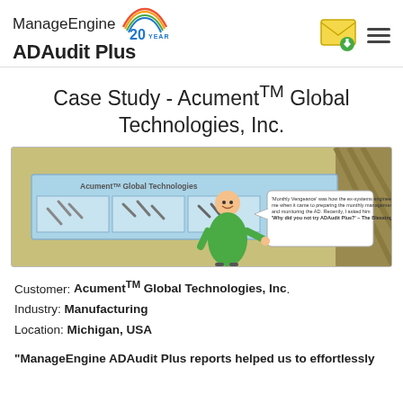ManageEngine 20 Years / ADAudit Plus
Case Study - Acument™ Global Technologies, Inc.
[Figure (illustration): Cartoon illustration of a man in a green shirt gesturing toward a wall display showing Acument™ Global Technologies with products (bolts/fasteners). A speech bubble reads: 'Monthly Vengeance' was how the ex-systems engineer cautioned me when it came to preparing the monthly management reports and monitoring the AD. Recently, I asked him 'Why did you not try ADAudit Plus?' – The Blessing in Disguise!]
Customer: Acument™ Global Technologies, Inc.
Industry: Manufacturing
Location: Michigan, USA
"ManageEngine ADAudit Plus reports helped us to effortlessly...